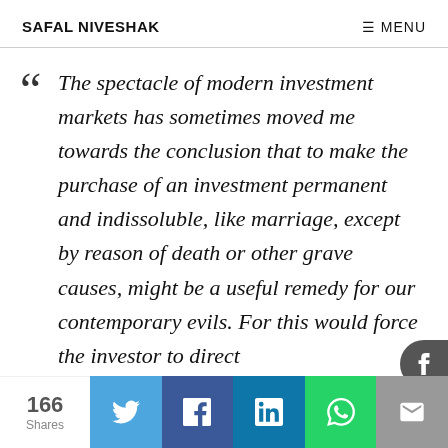SAFAL NIVESHAK — MENU
“The spectacle of modern investment markets has sometimes moved me towards the conclusion that to make the purchase of an investment permanent and indissoluble, like marriage, except by reason of death or other grave causes, might be a useful remedy for our contemporary evils. For this would force the investor to direct
166 Shares | Twitter | Facebook | LinkedIn | WhatsApp | Email